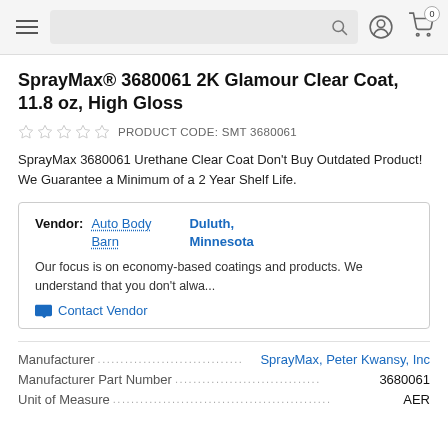Navigation bar with hamburger menu, search bar, user icon, and cart icon (0 items)
SprayMax® 3680061 2K Glamour Clear Coat, 11.8 oz, High Gloss
PRODUCT CODE: SMT 3680061
SprayMax 3680061 Urethane Clear Coat Don't Buy Outdated Product! We Guarantee a Minimum of a 2 Year Shelf Life.
| Vendor: | Auto Body Barn | Duluth, Minnesota |
|  | Our focus is on economy-based coatings and products. We understand that you don't alwa... |  |
|  | Contact Vendor |  |
Manufacturer ..................................... SprayMax, Peter Kwansy, Inc
Manufacturer Part Number................................................ 3680061
Unit of Measure............................................................. AER